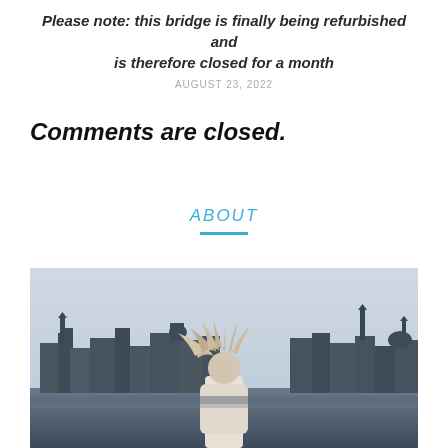Please note: this bridge is finally being refurbished and is therefore closed for a month
AUGUST 23, 2022
Comments are closed.
ABOUT
[Figure (photo): A person with windswept hair stands on a bridge or waterfront with a historic European city skyline (Edinburgh-like buildings and spires) in the background under an overcast sky.]